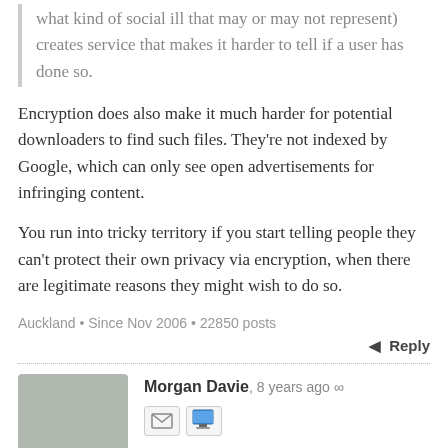what kind of social ill that may or may not represent) creates service that makes it harder to tell if a user has done so.
Encryption does also make it much harder for potential downloaders to find such files. They're not indexed by Google, which can only see open advertisements for infringing content.
You run into tricky territory if you start telling people they can't protect their own privacy via encryption, when there are legitimate reasons they might wish to do so.
Auckland • Since Nov 2006 • 22850 posts
Reply
Morgan Davie, 8 years ago ∞
So it's been accessed by the uploader only?
Then Mr Slater either:
* trusted his source about what the file was, and ran